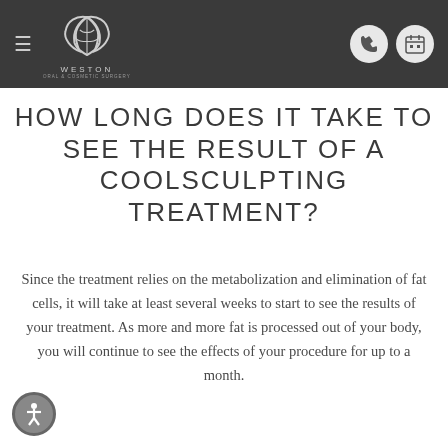WESTON — navigation header with logo, hamburger menu, phone and calendar icons
HOW LONG DOES IT TAKE TO SEE THE RESULT OF A COOLSCULPTING TREATMENT?
Since the treatment relies on the metabolization and elimination of fat cells, it will take at least several weeks to start to see the results of your treatment. As more and more fat is processed out of your body, you will continue to see the effects of your procedure for up to a month.